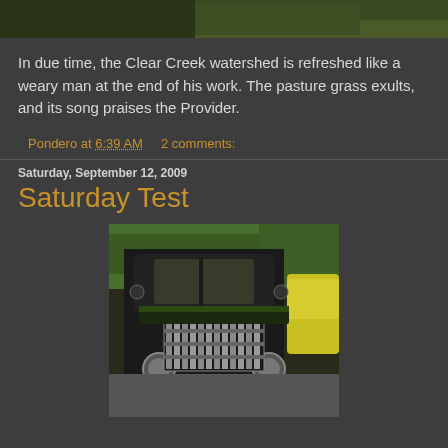[Figure (photo): Top portion of a landscape photo showing dark green foliage/grass against a dark background, cropped at the top of the page]
In due time, the Clear Creek watershed is refreshed like a weary man at the end of his work. The pasture grass exults, and its song praises the Provider.
Pondero at 6:39 AM    2 comments:
Saturday, September 12, 2009
Saturday Test
[Figure (photo): Front view of a vintage black truck (1940s era) with chrome grille at a car show, with a yellow classic car visible on the right side, green grass lawn and trees in background]